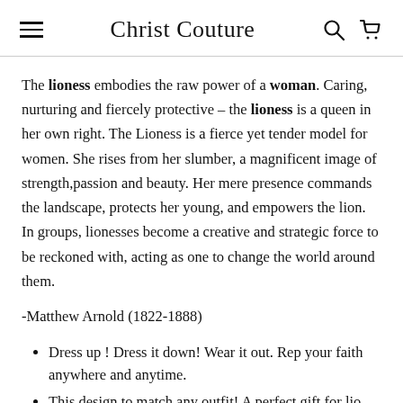Christ Couture
The lioness embodies the raw power of a woman. Caring, nurturing and fiercely protective – the lioness is a queen in her own right. The Lioness is a fierce yet tender model for women. She rises from her slumber, a magnificent image of strength,passion and beauty. Her mere presence commands the landscape, protects her young, and empowers the lion. In groups, lionesses become a creative and strategic force to be reckoned with, acting as one to change the world around them.
-Matthew Arnold (1822-1888)
Dress up ! Dress it down! Wear it out. Rep your faith anywhere and anytime.
This design to match any outfit! A perfect gift for lio...